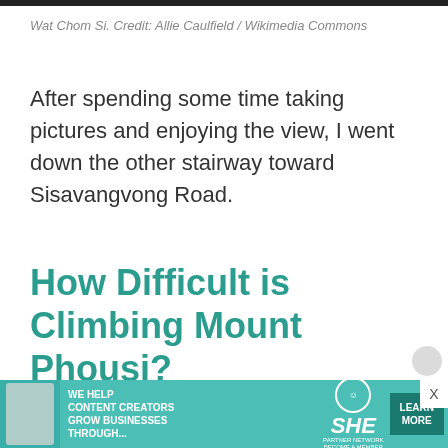[Figure (photo): Dark strip representing the bottom edge of a photo of Wat Chom Si]
Wat Chom Si. Credit: Allie Caulfield / Wikimedia Commons
After spending some time taking pictures and enjoying the view, I went down the other stairway toward Sisavangvong Road.
How Difficult is Climbing Mount Phousi?
[Figure (infographic): Advertisement banner: SHE Media Partner Network. Text reads WE HELP CONTENT CREATORS GROW BUSINESSES THROUGH... with LEARN MORE button and X close button.]